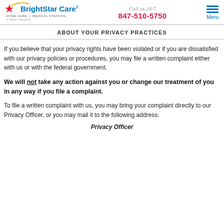BrightStar Care — HOME CARE | MEDICAL STAFFING A Higher Standard — Call us 24/7 — 847-510-5750 — Menu
ABOUT YOUR PRIVACY PRACTICES
If you believe that your privacy rights have been violated or if you are dissatisfied with our privacy policies or procedures, you may file a written complaint either with us or with the federal government.
We will not take any action against you or change our treatment of you in any way if you file a complaint.
To file a written complaint with us, you may bring your complaint directly to our Privacy Officer, or you may mail it to the following address:
Privacy Officer